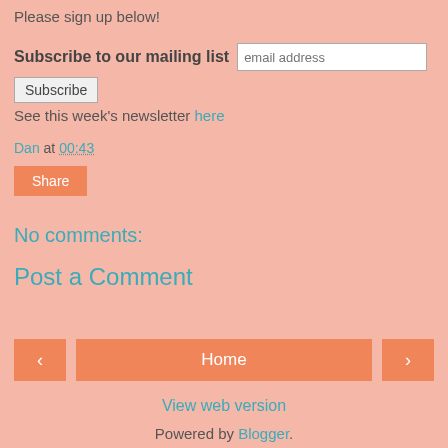Please sign up below!
Subscribe to our mailing list [email address input] Subscribe
See this week's newsletter here
Dan at 00:43
Share
No comments:
Post a Comment
< Home > View web version Powered by Blogger.